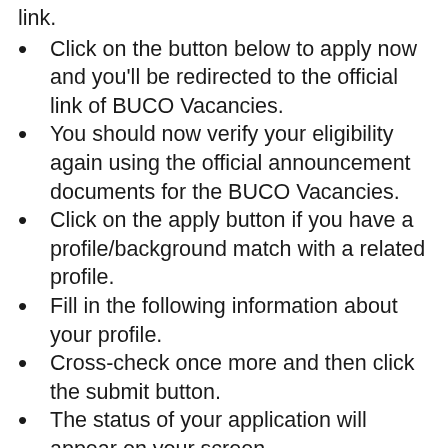link.
Click on the button below to apply now and you'll be redirected to the official link of BUCO Vacancies.
You should now verify your eligibility again using the official announcement documents for the BUCO Vacancies.
Click on the apply button if you have a profile/background match with a related profile.
Fill in the following information about your profile.
Cross-check once more and then click the submit button.
The status of your application will appear on your screen.
To use it in the future, take a screenshot from your mobile/desktop device.